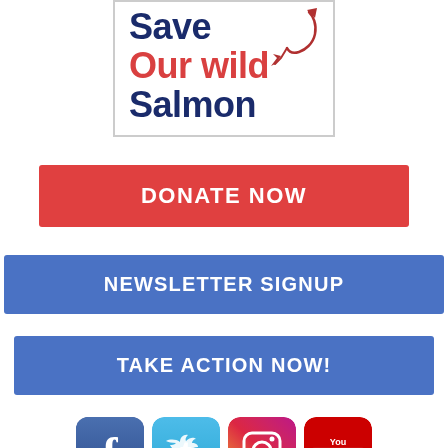[Figure (logo): Save Our Wild Salmon logo with fish silhouette and red/blue text in a white bordered box]
DONATE NOW
NEWSLETTER SIGNUP
TAKE ACTION NOW!
[Figure (illustration): Social media icons: Facebook, Twitter, Instagram, YouTube]